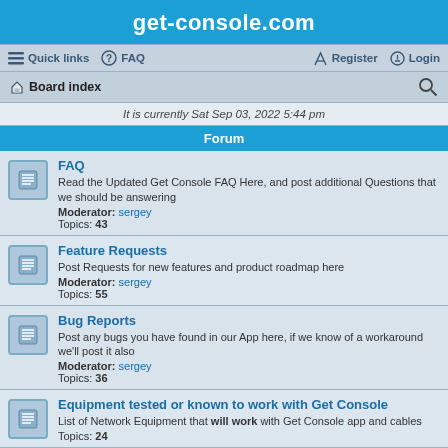get-console.com
Quick links  FAQ  Register  Login
Board index
It is currently Sat Sep 03, 2022 5:44 pm
Forum
FAQ
Read the Updated Get Console FAQ Here, and post additional Questions that we should be answering
Moderator: sergey
Topics: 43
Feature Requests
Post Requests for new features and product roadmap here
Moderator: sergey
Topics: 55
Bug Reports
Post any bugs you have found in our App here, if we know of a workaround we'll post it also
Moderator: sergey
Topics: 36
Equipment tested or known to work with Get Console
List of Network Equipment that will work with Get Console app and cables
Topics: 24
NON approved equipment list
List of Equipment that will not work with Get Console app and cables
Topics: 4